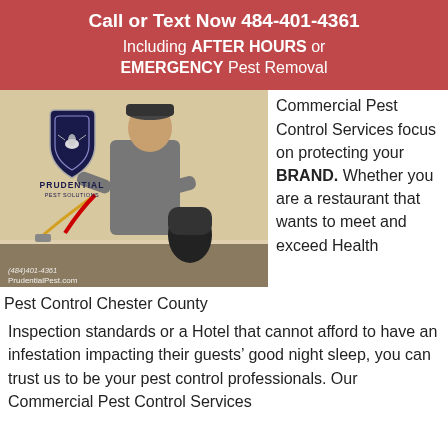Call or Text Now 484-401-4361
Including AFTER HOURS or EMERGENCY Pest Removal
[Figure (photo): Photo of a pest control technician applying treatment near a baseboard, with Prudential Pest Solutions logo overlay. Watermark text: (484)401-4361 PrudentialPest.com]
Pest Control Chester County
Commercial Pest Control Services focus on protecting your BRAND. Whether you are a restaurant that wants to meet and exceed Health
Inspection standards or a Hotel that cannot afford to have an infestation impacting their guests’ good night sleep, you can trust us to be your pest control professionals.  Our Commercial Pest Control Services